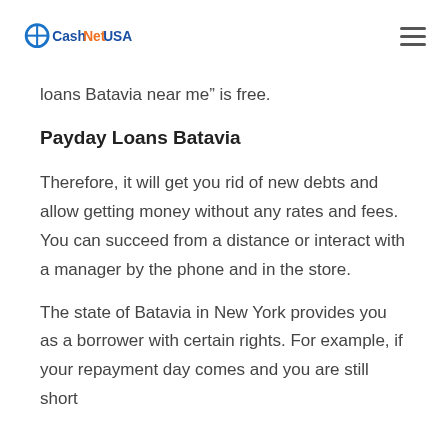CashNetUSA
loans Batavia near me” is free.
Payday Loans Batavia
Therefore, it will get you rid of new debts and allow getting money without any rates and fees. You can succeed from a distance or interact with a manager by the phone and in the store.
The state of Batavia in New York provides you as a borrower with certain rights. For example, if your repayment day comes and you are still short